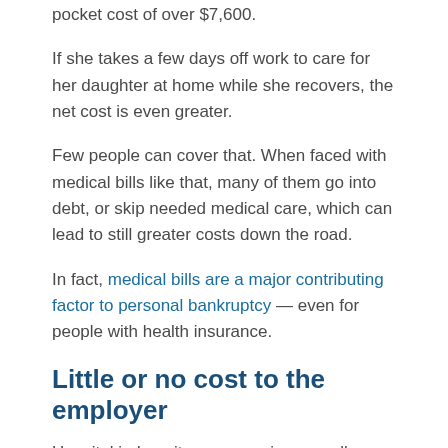pocket cost of over $7,600.
If she takes a few days off work to care for her daughter at home while she recovers, the net cost is even greater.
Few people can cover that. When faced with medical bills like that, many of them go into debt, or skip needed medical care, which can lead to still greater costs down the road.
In fact, medical bills are a major contributing factor to personal bankruptcy — even for people with health insurance.
Little or no cost to the employer
Hospital indemnity coverage is generally offered as part of a voluntary benefits package, and often at little or no cost to the employer.